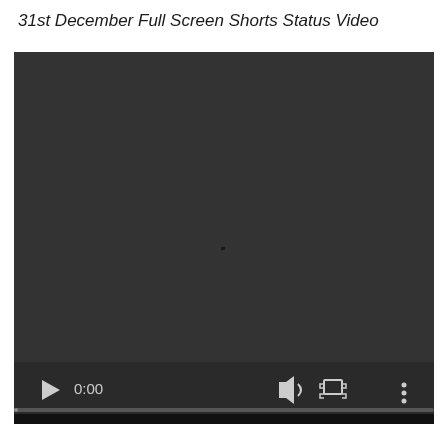31st December Full Screen Shorts Status Video
[Figure (screenshot): Video player with dark/black background showing a paused video at 0:00 with playback controls including play button, timestamp 0:00, volume icon, fullscreen icon, and menu icon at the bottom.]